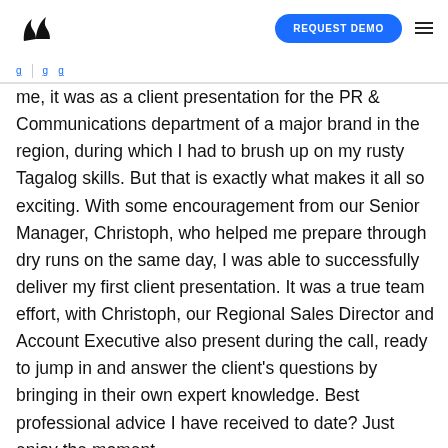REQUEST DEMO
me, it was as a client presentation for the PR & Communications department of a major brand in the region, during which I had to brush up on my rusty Tagalog skills. But that is exactly what makes it all so exciting. With some encouragement from our Senior Manager, Christoph, who helped me prepare through dry runs on the same day, I was able to successfully deliver my first client presentation. It was a true team effort, with Christoph, our Regional Sales Director and Account Executive also present during the call, ready to jump in and answer the client's questions by bringing in their own expert knowledge. Best professional advice I have received to date? Just enjoy the moment.